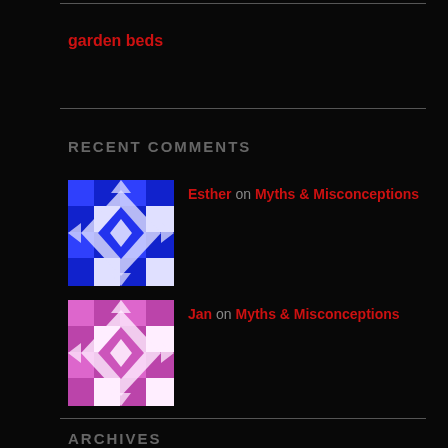garden beds
RECENT COMMENTS
Esther on Myths & Misconceptions
Jan on Myths & Misconceptions
ARCHIVES
August 2022
July 2022